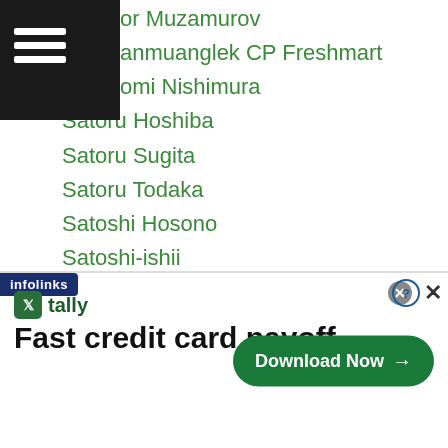...or Muzamurov
...anmuanglek CP Freshmart
...omi Nishimura
Satoru Hoshiba
Satoru Sugita
Satoru Todaka
Satoshi Hosono
Satoshi-ishii
Satoshi Ozawa
Satoshi Shimizu
Satoshi Tanaka
Satsuki Ito
Save Japan Boxing
Sa Ya Lee
Sayo Segawa
Scott Quigg
...mes
[Figure (screenshot): Tally app advertisement banner: 'Fast credit card payoff' with Download Now button, infolinks label, help and close icons]